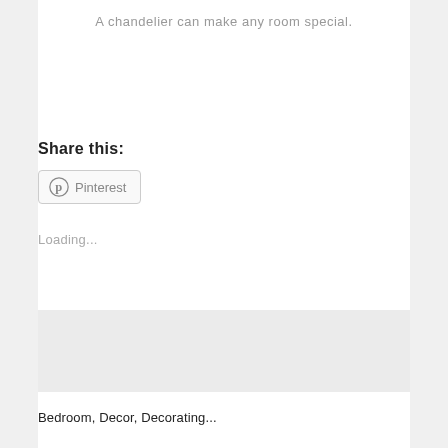A chandelier can make any room special.
Share this:
[Figure (screenshot): Pinterest share button with Pinterest logo icon and text 'Pinterest']
Loading...
Bedroom, Decor, Decorating...